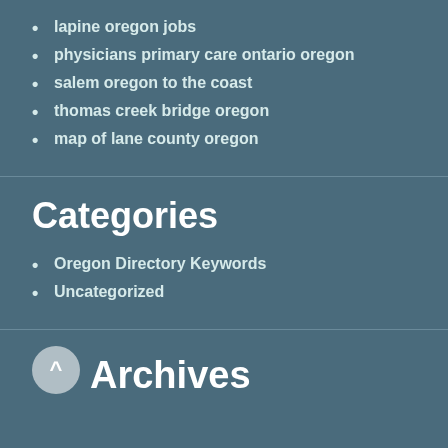lapine oregon jobs
physicians primary care ontario oregon
salem oregon to the coast
thomas creek bridge oregon
map of lane county oregon
Categories
Oregon Directory Keywords
Uncategorized
Archives